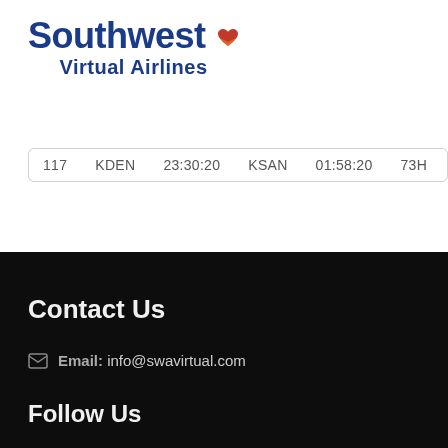[Figure (logo): Southwest Virtual Airlines logo with blue bold text and red heart icon]
| 117 | KDEN | 23:30:20 | KSAN | 01:58:20 | 73H | 2... |
Contact Us
Email: info@swavirtual.com
Follow Us